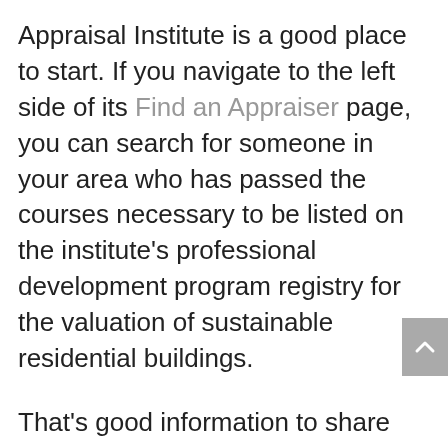Appraisal Institute is a good place to start. If you navigate to the left side of its Find an Appraiser page, you can search for someone in your area who has passed the courses necessary to be listed on the institute's professional development program registry for the valuation of sustainable residential buildings.
That's good information to share with the lender, who will ultimately be responsible for hiring the appraiser.
Remember also to select a lender well-versed in high-performance construction. Also consider adding a contract clause to